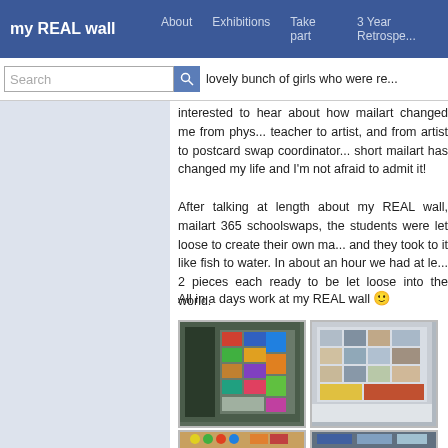my REAL wall   About   Exhibitions   Take part   3 Year Retrospe...
lovely bunch of girls who were re... interested to hear about how mailart changed me from phy... teacher to artist, and from artist to postcard swap coordinator... short mailart has changed my life and I'm not afraid to admit it!
After talking at length about my REAL wall, mailart 365 schoolswaps, the students were let loose to create their own ma... and they took to it like fish to water. In about an hour we had at le... 2 pieces each ready to be let loose into the world.
All in a days work at my REAL wall 🙂
[Figure (photo): Photo of artwork displayed on a wall]
[Figure (photo): Photo of artwork displayed on a wall]
[Figure (photo): Photo of colorful objects on a table]
[Figure (photo): Photo of students working on artwork]